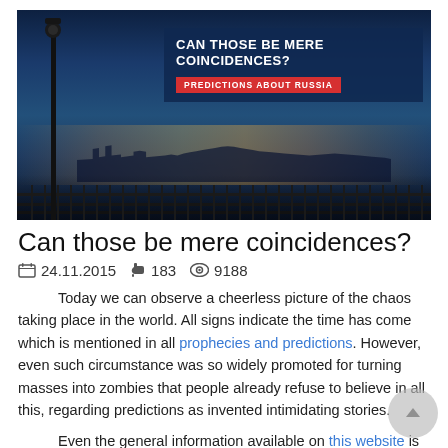[Figure (photo): Night cityscape of Moscow with Kremlin in background, ornate iron fence in foreground, street lamp on left, with overlay text 'CAN THOSE BE MERE COINCIDENCES?' and red tag 'PREDICTIONS ABOUT RUSSIA']
Can those be mere coincidences?
📅 24.11.2015   👍 183   👁 9188
Today we can observe a cheerless picture of the chaos taking place in the world. All signs indicate the time has come which is mentioned in all prophecies and predictions. However, even such circumstance was so widely promoted for turning masses into zombies that people already refuse to believe in all this, regarding predictions as invented intimidating stories.
Even the general information available on this website is an incontrovertible evidence of the presence of Mahdi (Islam), the Comforter (Christianity), Maitreya (Buddhism), etc. in the world. But, unfortunately, contemporary people have forgotten how to perform systematic and analytical work. If they seriously reflected